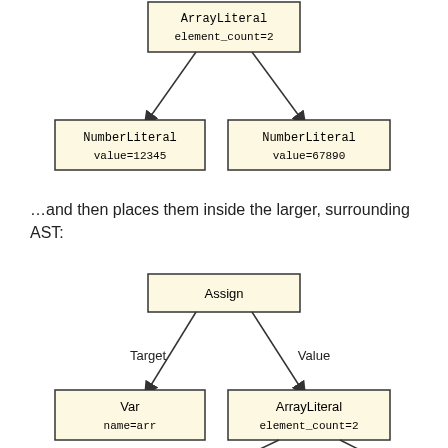[Figure (flowchart): AST diagram showing ArrayLiteral node with element_count=2 branching to two NumberLiteral nodes: value=12345 and value=67890]
…and then places them inside the larger, surrounding AST:
[Figure (flowchart): AST diagram showing Assign node branching via Target to Var (name=arr) and via Value to ArrayLiteral (element_count=2), which further branches downward]